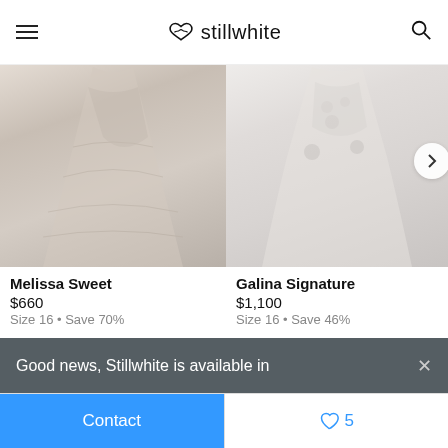stillwhite
[Figure (photo): Wedding dress photo - Melissa Sweet lace gown with train, hanging against white paneled wall]
[Figure (photo): Wedding dress photo - Galina Signature white gown with floral details]
Melissa Sweet
$660
Size 16 • Save 70%
Galina Signature
$1,100
Size 16 • Save 46%
Good news, Stillwhite is available in
Contact
5